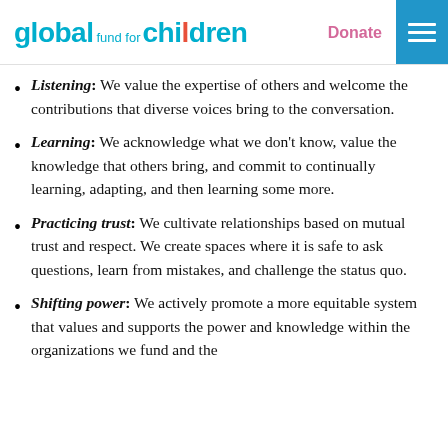global fund for children | Donate
Listening: We value the expertise of others and welcome the contributions that diverse voices bring to the conversation.
Learning: We acknowledge what we don't know, value the knowledge that others bring, and commit to continually learning, adapting, and then learning some more.
Practicing trust: We cultivate relationships based on mutual trust and respect. We create spaces where it is safe to ask questions, learn from mistakes, and challenge the status quo.
Shifting power: We actively promote a more equitable system that values and supports the power and knowledge within the organizations we fund and the